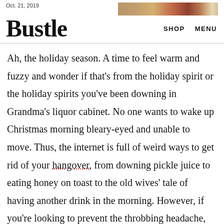Oct. 21, 2019
Bustle
Ah, the holiday season. A time to feel warm and fuzzy and wonder if that’s from the holiday spirit or the holiday spirits you’ve been downing in Grandma’s liquor cabinet. No one wants to wake up Christmas morning bleary-eyed and unable to move. Thus, the internet is full of weird ways to get rid of your hangover, from downing pickle juice to eating honey on toast to the old wives’ tale of having another drink in the morning. However, if you’re looking to prevent the throbbing headache, nausea, general feelings of “omg what have I done,” there is one drink that will keep your holiday season relatively hangover free.